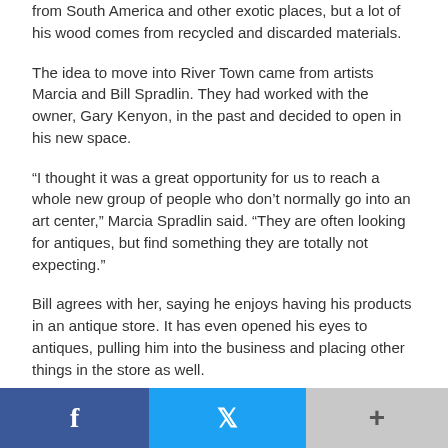from South America and other exotic places, but a lot of his wood comes from recycled and discarded materials.
The idea to move into River Town came from artists Marcia and Bill Spradlin. They had worked with the owner, Gary Kenyon, in the past and decided to open in his new space.
“I thought it was a great opportunity for us to reach a whole new group of people who don’t normally go into an art center,” Marcia Spradlin said. “They are often looking for antiques, but find something they are totally not expecting.”
Bill agrees with her, saying he enjoys having his products in an antique store. It has even opened his eyes to antiques, pulling him into the business and placing other things in the store as well.
“It creates a big diversity, combining everything together like we have.” Bill Spradlin said. “We’ve actually sold both, art and
f    +